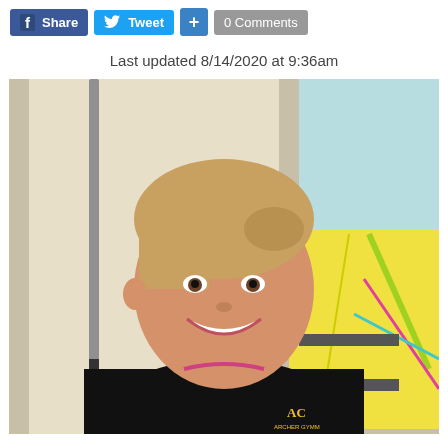Share  Tweet  +  0 Comments
Last updated 8/14/2020 at 9:36am
[Figure (photo): A smiling young woman with blonde hair pulled back, wearing a black long-sleeve shirt with an 'AC Archer Gymm' logo, standing in front of large paper/chart displays and a metal pole.]